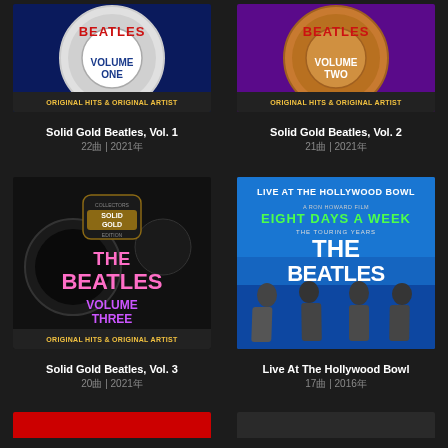[Figure (photo): Album art for Solid Gold Beatles Vol. 1 - drum kit on dark blue background with 'VOLUME ONE' text, 'ORIGINAL HITS & ORIGINAL ARTIST' banner]
Solid Gold Beatles, Vol. 1
22曲 | 2021年
[Figure (photo): Album art for Solid Gold Beatles Vol. 2 - drum kit on purple background with 'VOLUME TWO' text, 'ORIGINAL HITS & ORIGINAL ARTIST' banner]
Solid Gold Beatles, Vol. 2
21曲 | 2021年
[Figure (photo): Album art for Solid Gold Beatles Vol. 3 - black drum kit background with pink and purple 'THE BEATLES VOLUME THREE' text, 'Collectors Solid Gold Edition' badge, 'ORIGINAL HITS & ORIGINAL ARTIST' banner]
Solid Gold Beatles, Vol. 3
20曲 | 2021年
[Figure (photo): Album art for Live At The Hollywood Bowl - blue background showing The Beatles live at Hollywood Bowl, 'EIGHT DAYS A WEEK THE TOURING YEARS' film title, four Beatles members in foreground]
Live At The Hollywood Bowl
17曲 | 2016年